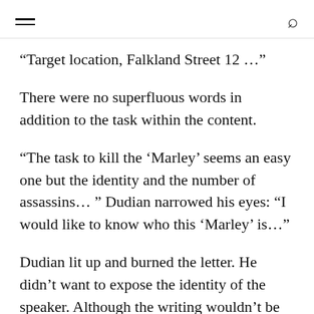[hamburger menu] [search icon]
“Target location, Falkland Street 12 …”
There were no superfluous words in addition to the task within the content.
“The task to kill the ‘Marley’ seems an easy one but the identity and the number of assassins… ” Dudian narrowed his eyes: “I would like to know who this ‘Marley’ is…”
Dudian lit up and burned the letter. He didn’t want to expose the identity of the speaker. Although the writing wouldn’t be Pope’s own handwriting but one of his henchmen but still